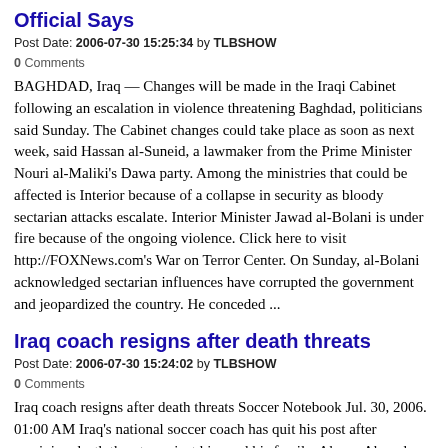Official Says
Post Date: 2006-07-30 15:25:34 by TLBSHOW
0 Comments
BAGHDAD, Iraq — Changes will be made in the Iraqi Cabinet following an escalation in violence threatening Baghdad, politicians said Sunday. The Cabinet changes could take place as soon as next week, said Hassan al-Suneid, a lawmaker from the Prime Minister Nouri al-Maliki's Dawa party. Among the ministries that could be affected is Interior because of a collapse in security as bloody sectarian attacks escalate. Interior Minister Jawad al-Bolani is under fire because of the ongoing violence. Click here to visit http://FOXNews.com's War on Terror Center. On Sunday, al-Bolani acknowledged sectarian influences have corrupted the government and jeopardized the country. He conceded ...
Iraq coach resigns after death threats
Post Date: 2006-07-30 15:24:02 by TLBSHOW
0 Comments
Iraq coach resigns after death threats Soccer Notebook Jul. 30, 2006. 01:00 AM Iraq's national soccer coach has quit his post after receiving death threats against him and his family. Akram Ahmed Salman submitted his resignation Friday to the secretary general of the Iraqi Football Federation, Ahmed Abbas, and left the capital. "He resigned due to a threat he received to quit